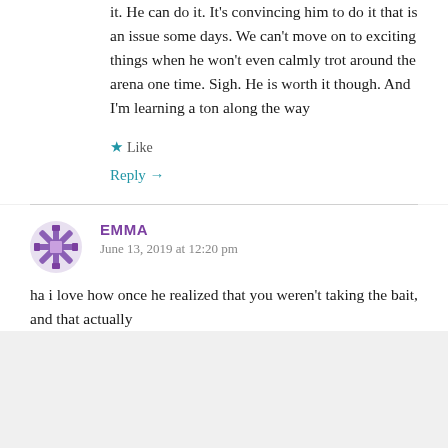it. He can do it. It's convincing him to do it that is an issue some days. We can't move on to exciting things when he won't even calmly trot around the arena one time. Sigh. He is worth it though. And I'm learning a ton along the way
★ Like
Reply →
EMMA
June 13, 2019 at 12:20 pm
ha i love how once he realized that you weren't taking the bait, and that actually